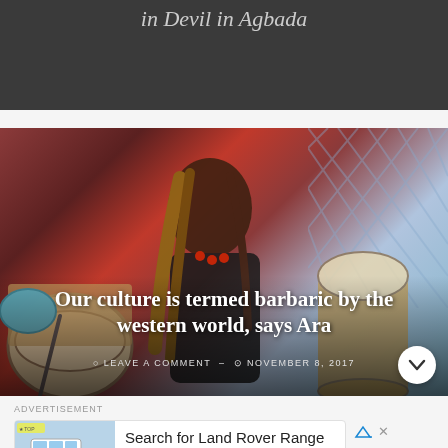in Devil in Agbada
[Figure (photo): A woman with long braided hair holding djembe drums, wearing a black outfit with red bead necklace, seated in front of a red wall and chain-link fence]
Our culture is termed barbaric by the western world, says Ara
LEAVE A COMMENT – NOVEMBER 8, 2017
ADVERTISEMENT
[Figure (photo): Advertisement for Land Rover Range Rover showing a white SUV with Motor Daily branding]
Search for Land Rover Range Rover